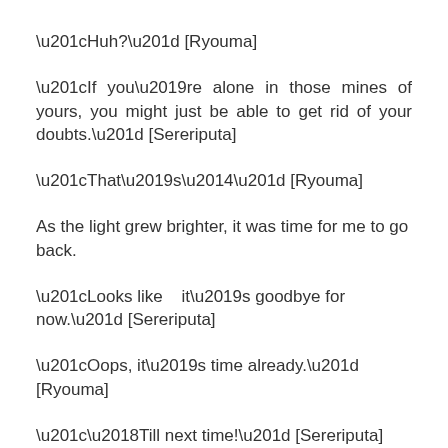“Huh?” [Ryouma]
“If you’re alone in those mines of yours, you might just be able to get rid of your doubts.” [Sereriputa]
“That’s—” [Ryouma]
As the light grew brighter, it was time for me to go back.
“Looks like   it’s goodbye for now.” [Sereriputa]
“Oops, it’s time already.” [Ryouma]
“‘Till next time!” [Sereriputa]
After Sereriputa said that, everyone else bid me farewell,